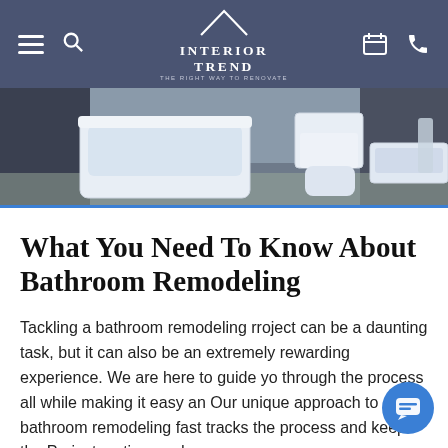INTERIOR TREND — THE RIGHT WAY TO RENOVATE
[Figure (photo): Hero image of a modern bathroom with a freestanding white bathtub, wall-mounted toilet, and sink on a wooden floor with grey tiles.]
What You Need To Know About Bathroom Remodeling
Tackling a bathroom remodeling rroject can be a daunting task, but it can also be an extremely rewarding experience. We are here to guide you through the process all while making it easy an... Our unique approach to bathroom remodeling fast tracks the process and keeps the Project on time and